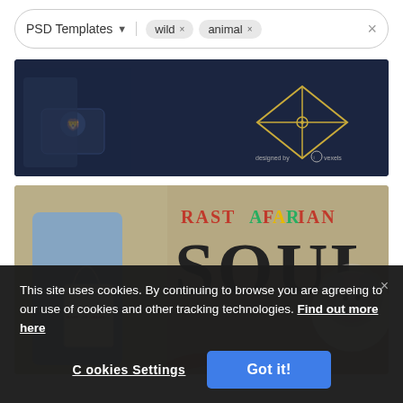[Figure (screenshot): Search bar with 'PSD Templates' category dropdown and filter chips 'wild' and 'animal' with X buttons]
[Figure (photo): Dark navy blue background template image showing a person holding a pillow with lion design and a geometric gold pattern on the right, with 'designed by vexels' watermark]
[Figure (photo): Rastafarian Soul PSD template showing a woman in denim jacket holding a tote bag, with large 'RASTAFARIAN SOUL' text in red, yellow, green colors and a lion image on the right, olive/tan background]
This site uses cookies. By continuing to browse you are agreeing to our use of cookies and other tracking technologies. Find out more here
Cookies Settings
Got it!